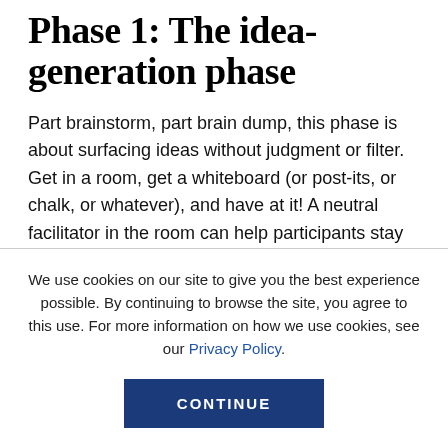Phase 1: The idea-generation phase
Part brainstorm, part brain dump, this phase is about surfacing ideas without judgment or filter. Get in a room, get a whiteboard (or post-its, or chalk, or whatever), and have at it! A neutral facilitator in the room can help participants stay creative, exploring all possible answers to the question “Why are we doing this?”
We use cookies on our site to give you the best experience possible. By continuing to browse the site, you agree to this use. For more information on how we use cookies, see our Privacy Policy.